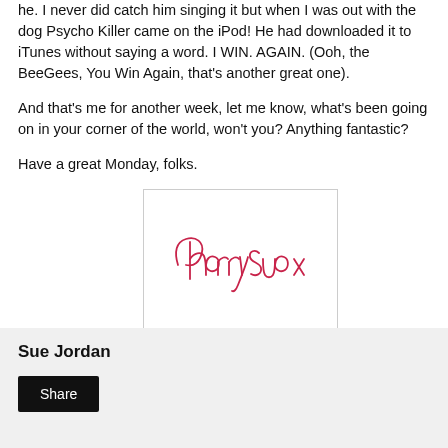he. I never did catch him singing it but when I was out with the dog Psycho Killer came on the iPod! He had downloaded it to iTunes without saying a word. I WIN. AGAIN. (Ooh, the BeeGees, You Win Again, that's another great one).
And that's me for another week, let me know, what's been going on in your corner of the world, won't you? Anything fantastic?
Have a great Monday, folks.
[Figure (illustration): A handwritten cursive signature reading 'CherrySue x' in red/pink ink on a white background with a light border.]
Sue Jordan
Share